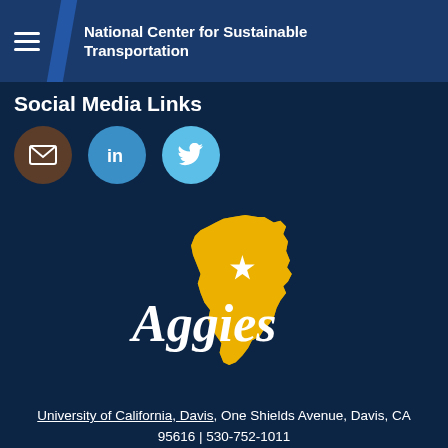National Center for Sustainable Transportation
Social Media Links
[Figure (illustration): Three social media icon buttons: email (brown circle with envelope), LinkedIn (blue circle with 'in'), Twitter (light blue circle with bird logo)]
[Figure (logo): UC Davis Aggies logo - California state shape in gold/yellow with a star and 'Aggies' written in white script over it]
University of California, Davis, One Shields Avenue, Davis, CA 95616 | 530-752-1011
Copyright ... Privacy & Accessibility ...